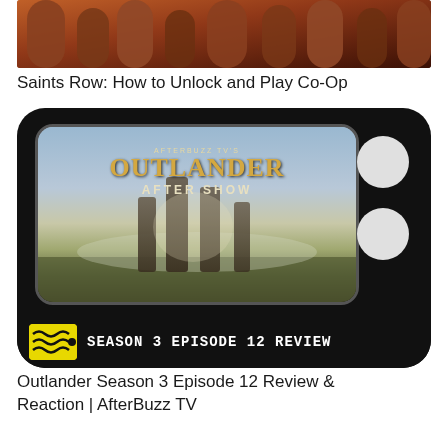[Figure (photo): Partial view of Saints Row video game image showing ancient stone architecture with orange/red tones, cropped at top]
Saints Row: How to Unlock and Play Co-Op
[Figure (photo): AfterBuzz TV's Outlander After Show thumbnail styled as a retro TV set. Black TV frame with rounded corners. Screen shows standing stones in a misty field with text: AFTERBUZZ TV'S, OUTLANDER, AFTER SHOW. Bottom bar shows AfterBuzz logo and text: SEASON 3 EPISODE 12 REVIEW. Two white circular buttons on right side of TV.]
Outlander Season 3 Episode 12 Review & Reaction | AfterBuzz TV